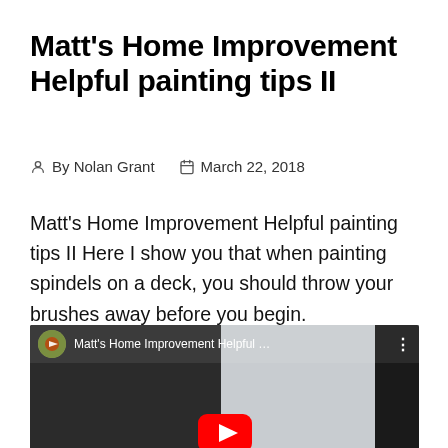Matt's Home Improvement Helpful painting tips II
By Nolan Grant   March 22, 2018
Matt's Home Improvement Helpful painting tips II Here I show you that when painting spindels on a deck, you should throw your brushes away before you begin.
[Figure (screenshot): YouTube video embed showing 'Matt's Home Improvement Helpful ...' with a split-screen thumbnail of dark interior scenes and a red YouTube play button overlay.]